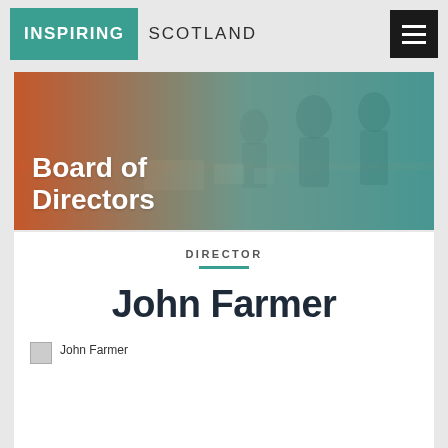INSPIRING SCOTLAND
[Figure (photo): Hero banner with gradient overlay (orange to teal) over an office scene with people working, displaying the text 'Board of Directors']
Board of Directors
DIRECTOR
John Farmer
John Farmer